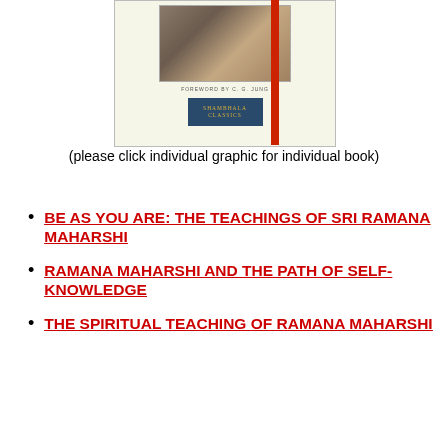[Figure (photo): Book cover image showing Shambhala Classics edition with a photo of a person and 'Foreword by C. G. Jung' text, with a red stripe on the right side]
(please click individual graphic for individual book)
BE AS YOU ARE: THE TEACHINGS OF SRI RAMANA MAHARSHI
RAMANA MAHARSHI AND THE PATH OF SELF-KNOWLEDGE
THE SPIRITUAL TEACHING OF RAMANA MAHARSHI